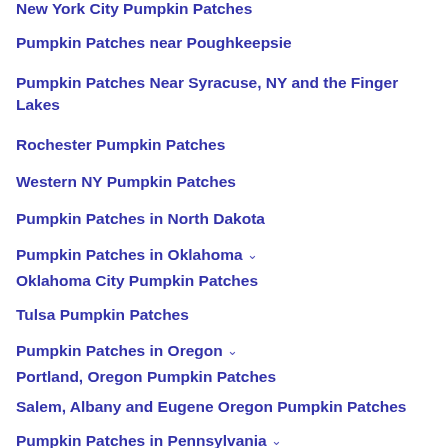New York City Pumpkin Patches
Pumpkin Patches near Poughkeepsie
Pumpkin Patches Near Syracuse, NY and the Finger Lakes
Rochester Pumpkin Patches
Western NY Pumpkin Patches
Pumpkin Patches in North Dakota
Pumpkin Patches in Oklahoma
Oklahoma City Pumpkin Patches
Tulsa Pumpkin Patches
Pumpkin Patches in Oregon
Portland, Oregon Pumpkin Patches
Salem, Albany and Eugene Oregon Pumpkin Patches
Pumpkin Patches in Pennsylvania